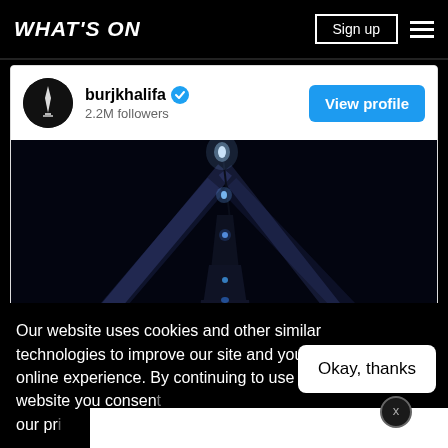WHAT'S ON
burjkhalifa · 2.2M followers
[Figure (photo): Night photograph of the Burj Khalifa tower lit up with blue lights and searchlight beams against a dark sky]
Our website uses cookies and other similar technologies to improve our site and your online experience. By continuing to use our website you consent our pr